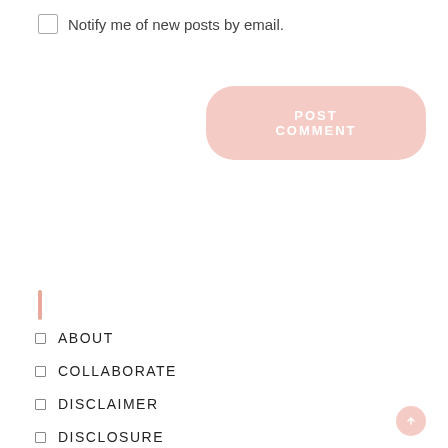Notify me of new posts by email.
POST COMMENT
ABOUT
COLLABORATE
DISCLAIMER
DISCLOSURE
RESOURCES